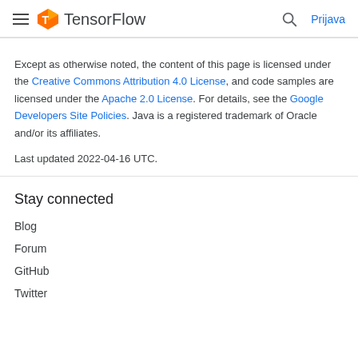TensorFlow   Prijava
Except as otherwise noted, the content of this page is licensed under the Creative Commons Attribution 4.0 License, and code samples are licensed under the Apache 2.0 License. For details, see the Google Developers Site Policies. Java is a registered trademark of Oracle and/or its affiliates.
Last updated 2022-04-16 UTC.
Stay connected
Blog
Forum
GitHub
Twitter